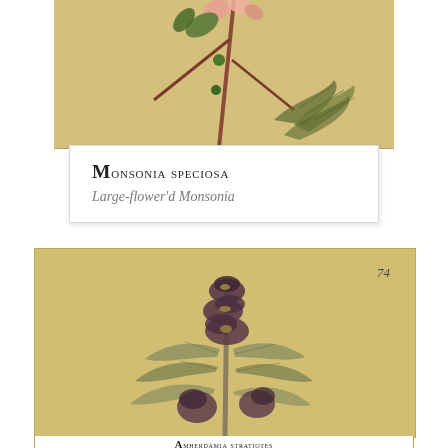[Figure (illustration): Botanical illustration of Monsonia speciosa top portion showing stems with pink/salmon flowers and green feathery foliage on a warm yellow-beige background]
Monsonia speciosa
Large-flower'd Monsonia
[Figure (illustration): Botanical illustration of Acanthonium or similar plant with tall purple-dark flower spike and broad leaves on warm yellow-beige background, numbered 74 in top right corner]
Acanthonium stratiotes